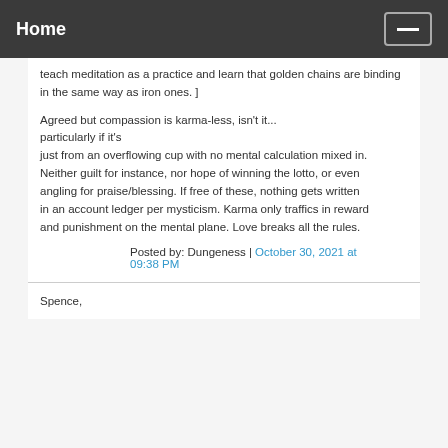Home
teach meditation as a practice and learn that golden chains are binding in the same way as iron ones. ]
Agreed but compassion is karma-less, isn't it... particularly if it's
just from an overflowing cup with no mental calculation mixed in.
Neither guilt for instance, nor hope of winning the lotto, or even
angling for praise/blessing. If free of these, nothing gets written
in an account ledger per mysticism. Karma only traffics in reward
and punishment on the mental plane. Love breaks all the rules.
Posted by: Dungeness | October 30, 2021 at 09:38 PM
Spence,